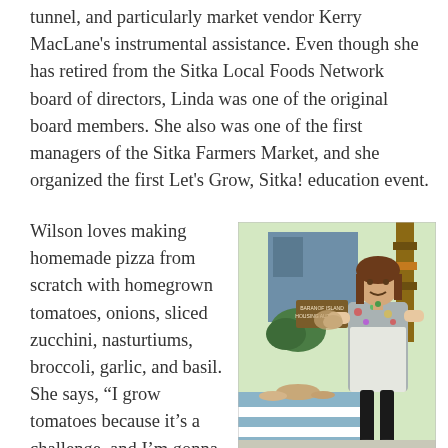tunnel, and particularly market vendor Kerry MacLane's instrumental assistance. Even though she has retired from the Sitka Local Foods Network board of directors, Linda was one of the original board members. She also was one of the first managers of the Sitka Farmers Market, and she organized the first Let's Grow, Sitka! education event.
Wilson loves making homemade pizza from scratch with homegrown tomatoes, onions, sliced zucchini, nasturtiums, broccoli, garlic, and basil. She says, “I grow tomatoes because it’s a challenge, and I’m gonna get it.” She also makes a mean pesto with carrot top greens. When she produces an overabundance
[Figure (photo): A woman standing at an outdoor market table, wearing a colorful floral shirt and an apron, holding what appears to be bread or a baked good. A sign in the background reads 'BARANOF ISLAND HOUSING AUTHORITY'. The table has items on it covered with a blue and white striped cloth.]